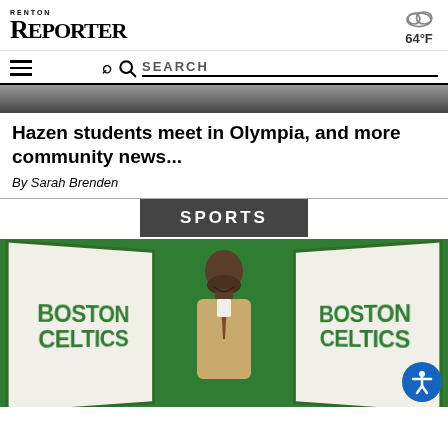Renton Reporter
[Figure (screenshot): Weather icon showing cloud with temperature 64°F]
[Figure (screenshot): Navigation bar with hamburger menu and search bar]
[Figure (photo): Partial black and white photo at top of article]
Hazen students meet in Olympia, and more community news...
By Sarah Brenden
SPORTS
[Figure (photo): Man smiling in front of two Boston Celtics banners on a green background, with an accessibility button in the bottom right corner]